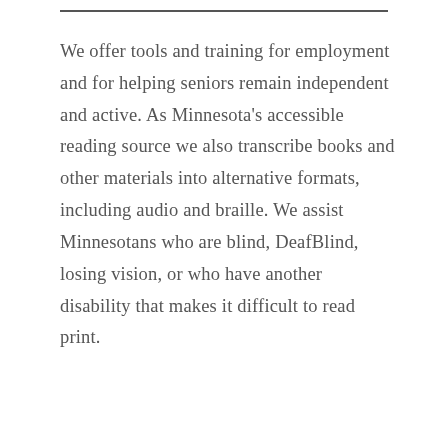We offer tools and training for employment and for helping seniors remain independent and active. As Minnesota's accessible reading source we also transcribe books and other materials into alternative formats, including audio and braille. We assist Minnesotans who are blind, DeafBlind, losing vision, or who have another disability that makes it difficult to read print.